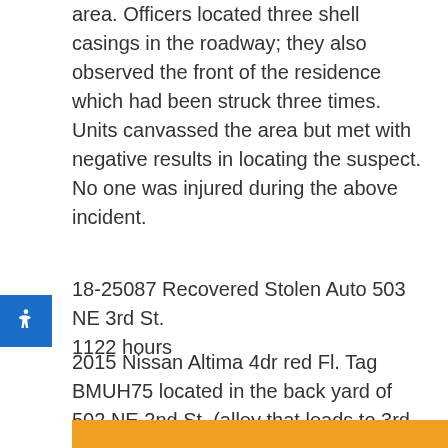area. Officers located three shell casings in the roadway; they also observed the front of the residence which had been struck three times. Units canvassed the area but met with negative results in locating the suspect. No one was injured during the above incident.
18-25087 Recovered Stolen Auto 503 NE 3rd St. 1122 hours
2015 Nissan Altima 4dr red Fl. Tag BMUH75 located in the back yard of 502 NE 2nd St. (alley that leads to 3rd St.) by the owner. No damage to vehicle. Owner had it towed by Becks.
By bbpdelite03 | May 10, 2018 | 2018, BBPD